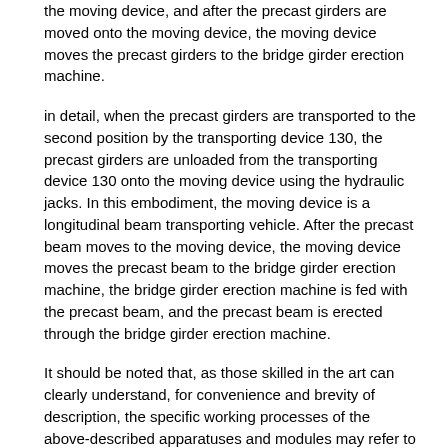the moving device, and after the precast girders are moved onto the moving device, the moving device moves the precast girders to the bridge girder erection machine.
in detail, when the precast girders are transported to the second position by the transporting device 130, the precast girders are unloaded from the transporting device 130 onto the moving device using the hydraulic jacks. In this embodiment, the moving device is a longitudinal beam transporting vehicle. After the precast beam moves to the moving device, the moving device moves the precast beam to the bridge girder erection machine, the bridge girder erection machine is fed with the precast beam, and the precast beam is erected through the bridge girder erection machine.
It should be noted that, as those skilled in the art can clearly understand, for convenience and brevity of description, the specific working processes of the above-described apparatuses and modules may refer to the corresponding processes in the foregoing method embodiments, and are not described herein again.
In summary, the embodiment of the present application